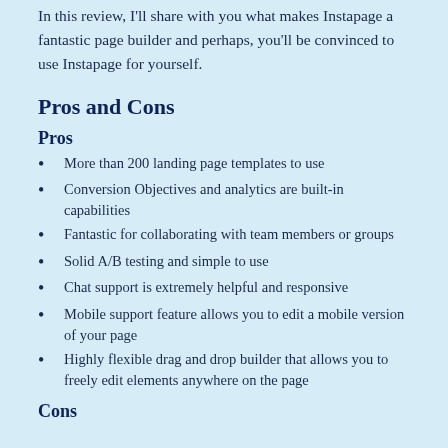In this review, I'll share with you what makes Instapage a fantastic page builder and perhaps, you'll be convinced to use Instapage for yourself.
Pros and Cons
Pros
More than 200 landing page templates to use
Conversion Objectives and analytics are built-in capabilities
Fantastic for collaborating with team members or groups
Solid A/B testing and simple to use
Chat support is extremely helpful and responsive
Mobile support feature allows you to edit a mobile version of your page
Highly flexible drag and drop builder that allows you to freely edit elements anywhere on the page
Cons